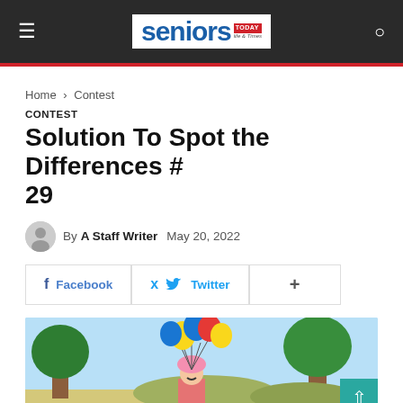seniors TODAY — Life & Times
Home › Contest
CONTEST
Solution To Spot the Differences # 29
By A Staff Writer   May 20, 2022
[Figure (illustration): Social sharing buttons: Facebook, Twitter, and More (+)]
[Figure (illustration): Colorful cartoon illustration showing a man wearing a pink turban holding colorful balloons (blue, red, yellow) with trees in the background on a light blue sky]